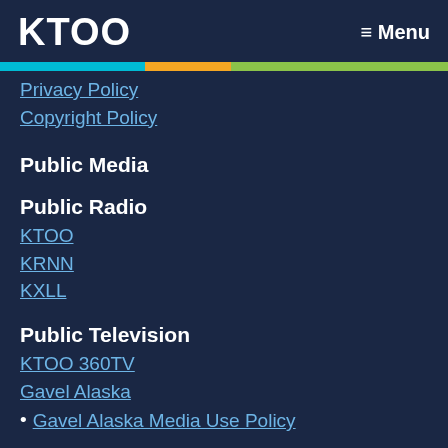KTOO  ≡ Menu
Privacy Policy
Copyright Policy
Public Media
Public Radio
KTOO
KRNN
KXLL
Public Television
KTOO 360TV
Gavel Alaska
Gavel Alaska Media Use Policy